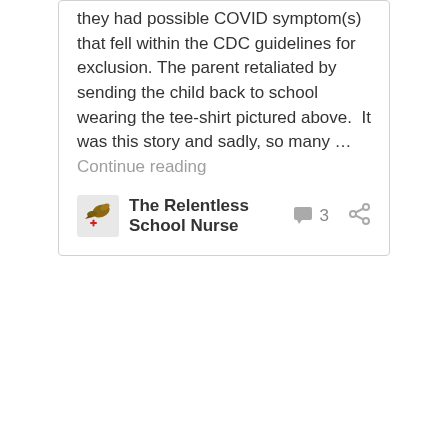they had possible COVID symptom(s) that fell within the CDC guidelines for exclusion. The parent retaliated by sending the child back to school wearing the tee-shirt pictured above.  It was this story and sadly, so many … Continue reading
The Relentless School Nurse  3